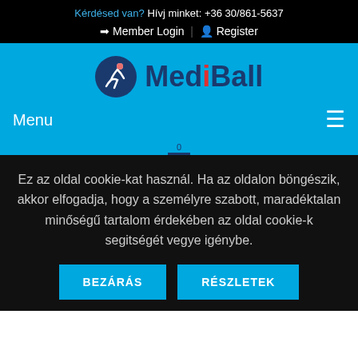Kérdésed van? Hívj minket: +36 30/861-5637
Member Login | Register
[Figure (logo): MediBall logo with circular figure icon and blue text]
Menu
≡
Ez az oldal cookie-kat használ. Ha az oldalon böngészik, akkor elfogadja, hogy a személyre szabott, maradéktalan minőségű tartalom érdekében az oldal cookie-k segitségét vegye igénybe.
BEZÁRÁS
RÉSZLETEK